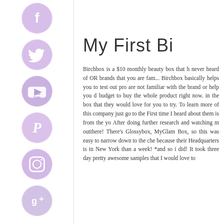[Figure (illustration): Vertical column of six watercolor-style purple social media icons: Facebook, Twitter, YouTube, Pinterest, Instagram, Google+]
My First Bi
Birchbox is a $10 monthly beauty box that has never heard of OR brands that you are fam... Birchbox basically helps you to test out pro... are not familiar with the brand or help you d... budget to buy the whole product right now. in the box that they would love for you to try. To learn more of this company just go to the... First time I heard about them is from the yo... After doing further research and watching m... outthere! There's Glossybox, MyGlam Box,... so this was easy to narrow down to the che... because their Headquarters is in New York... than a week! *and so i did! It took three day... pretty awesome samples that I would love to...